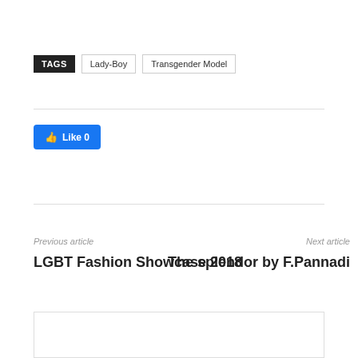TAGS  Lady-Boy  Transgender Model
Like 0
Previous article
Next article
LGBT Fashion Showcase 2018
The splendor by F.Pannadi